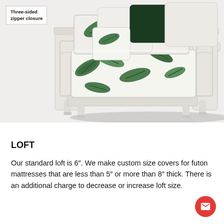[Figure (photo): A white wooden futon frame with tropical leaf patterned mattress cover and decorative pillows including white, black, and leaf-patterned cushions. A callout label reads 'Three-sided zipper closure'.]
LOFT
Our standard loft is 6". We make custom size covers for futon mattresses that are less than 5" or more than 8" thick. There is an additional charge to decrease or increase loft size.